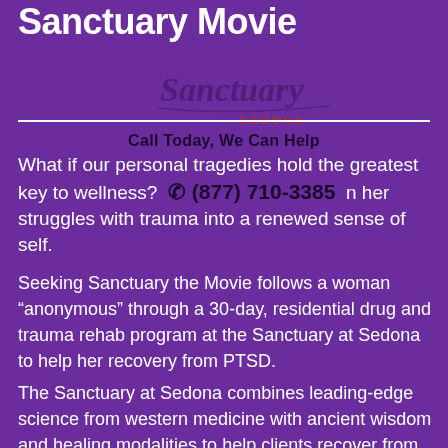Sanctuary Movie
[Figure (logo): Sanctuary Sedona cursive logo in dark purple/maroon with 'SEDONA' text]
Call Today, We Can Help
What if our personal tragedies hold the greatest key to wellness?... (877) 710-3385 ...n her struggles with trauma into a renewed sense of self.
Seeking Sanctuary the Movie follows a woman "anonymous" through a 30-day, residential drug and trauma rehab program at the Sanctuary at Sedona to help her recovery from PTSD.
The Sanctuary at Sedona combines leading-edge science from western medicine with ancient wisdom and healing modalities to help clients recover from their traumas and addictions.